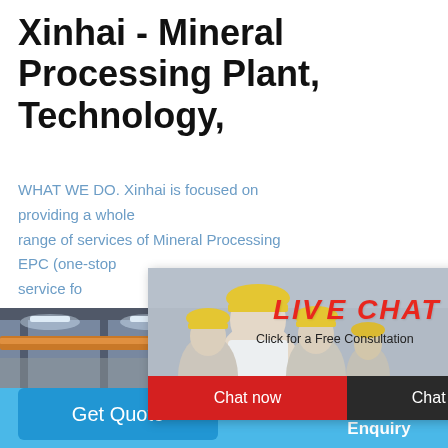Xinhai - Mineral Processing Plant, Technology,
WHAT WE DO. Xinhai is focused on providing a whole range of services of Mineral Processing EPC (one-stop service fo... testing, en... installatio...
[Figure (screenshot): Live chat popup with workers in hard hats, 'LIVE CHAT' red italic text, 'Click for a Free Consultation', 'Chat now' red button and 'Chat later' dark button]
[Figure (infographic): Right side panel in blue with emoji satisfaction gauge widget, 'best state for you!' text, 'Click me to chat >>' button, 'Enquiry' label]
[Figure (photo): Factory interior showing overhead cranes and structural steel]
Chat Online
cywaitml @gmail.com